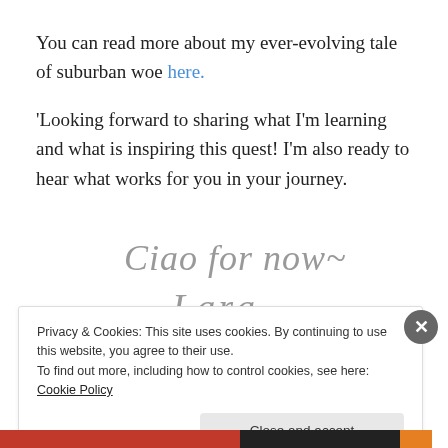You can read more about my ever-evolving tale of suburban woe here.
'Looking forward to sharing what I'm learning and what is inspiring this quest! I'm also ready to hear what works for you in your journey.
[Figure (illustration): Handwritten script signature reading 'Ciao for now~' on first line and 'Lara' on second line, in gray ink style]
Privacy & Cookies: This site uses cookies. By continuing to use this website, you agree to their use. To find out more, including how to control cookies, see here: Cookie Policy
Close and accept